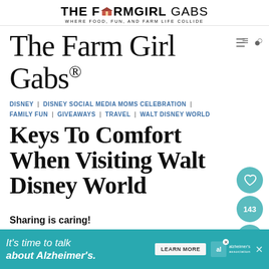THE FARMGIRL GABS — WHERE FOOD, FUN, AND FARM LIFE COLLIDE
The Farm Girl Gabs®
DISNEY | DISNEY SOCIAL MEDIA MOMS CELEBRATION | FAMILY FUN | GIVEAWAYS | TRAVEL | WALT DISNEY WORLD
Keys To Comfort When Visiting Walt Disney World
Sharing is caring!
[Figure (screenshot): What's Next widget showing thumbnail of a building and text 'The Ten Best Attractions ...']
[Figure (infographic): Advertisement banner: It's time to talk about Alzheimer's. LEARN MORE button. Alzheimer's Association logo.]